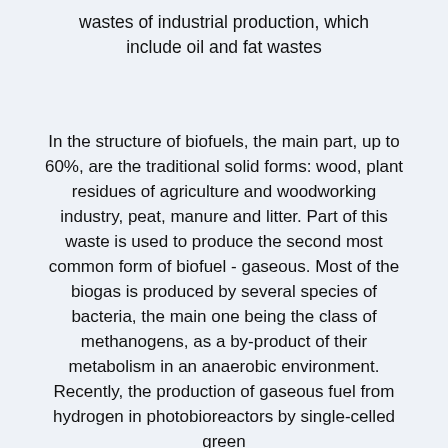wastes of industrial production, which include oil and fat wastes
In the structure of biofuels, the main part, up to 60%, are the traditional solid forms: wood, plant residues of agriculture and woodworking industry, peat, manure and litter. Part of this waste is used to produce the second most common form of biofuel - gaseous. Most of the biogas is produced by several species of bacteria, the main one being the class of methanogens, as a by-product of their metabolism in an anaerobic environment. Recently, the production of gaseous fuel from hydrogen in photobioreactors by single-celled green